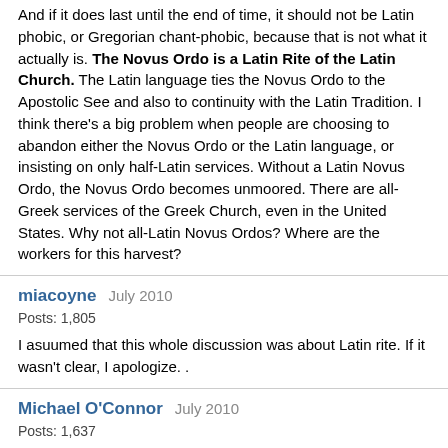And if it does last until the end of time, it should not be Latin phobic, or Gregorian chant-phobic, because that is not what it actually is. The Novus Ordo is a Latin Rite of the Latin Church. The Latin language ties the Novus Ordo to the Apostolic See and also to continuity with the Latin Tradition. I think there's a big problem when people are choosing to abandon either the Novus Ordo or the Latin language, or insisting on only half-Latin services. Without a Latin Novus Ordo, the Novus Ordo becomes unmoored. There are all-Greek services of the Greek Church, even in the United States. Why not all-Latin Novus Ordos? Where are the workers for this harvest?
miacoyne   July 2010
Posts: 1,805
I asuumed that this whole discussion was about Latin rite. If it wasn't clear, I apologize. .
Michael O'Connor   July 2010
Posts: 1,637
ISTM that those who really see Vat II as a break from something problematic, cling to the Paul VI Mass in the vernacular, assuming that this what the Council really wanted. In fact I recently read a post from a liturgist stating this in different words. That said, of course this Mass can be abrogated. Every other Missal has been, to my knowledge, except for the 1962 (which I'm guessing was a fortunate oversight). In any event are